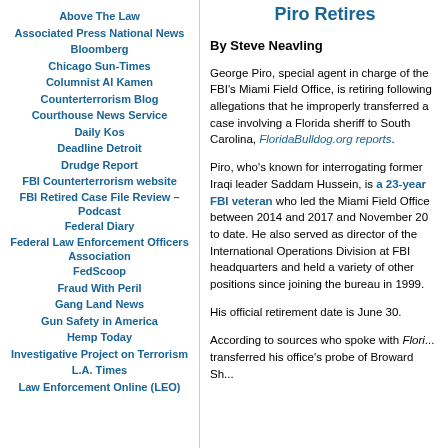Above The Law
Associated Press National News
Bloomberg
Chicago Sun-Times
Columnist Al Kamen
Counterterrorism Blog
Courthouse News Service
Daily Kos
Deadline Detroit
Drudge Report
FBI Counterterrorism website
FBI Retired Case File Review – Podcast
Federal Diary
Federal Law Enforcement Officers Association
FedScoop
Fraud With Peril
Gang Land News
Gun Safety in America
Hemp Today
Investigative Project on Terrorism
L.A. Times
Law Enforcement Online (LEO)
Piro Retires
By Steve Neavling
George Piro, special agent in charge of the FBI's Miami Field Office, is retiring following allegations that he improperly transferred a case involving a Florida sheriff to South Carolina, FloridaBulldog.org reports.
Piro, who's known for interrogating former Iraqi leader Saddam Hussein, is a 23-year FBI veteran who led the Miami Field Office between 2014 and 2017 and November 20 to date. He also served as director of the International Operations Division at FBI headquarters and held a variety of other positions since joining the bureau in 1999.
His official retirement date is June 30.
According to sources who spoke with Flori... transferred his office's probe of Broward Sh...